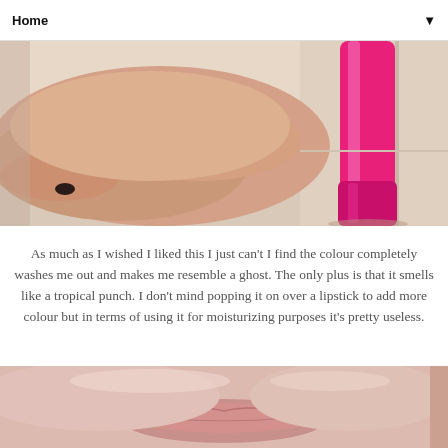Home
[Figure (photo): Close-up photo showing a hand resting on a surface next to a pink lipstick/lip balm product tube]
As much as I wished I liked this I just can't I find the colour completely washes me out and makes me resemble a ghost. The only plus is that it smells like a tropical punch. I don't mind popping it on over a lipstick to add more colour but in terms of using it for moisturizing purposes it's pretty useless.
[Figure (photo): Close-up photo of a person's lips/lower face area]